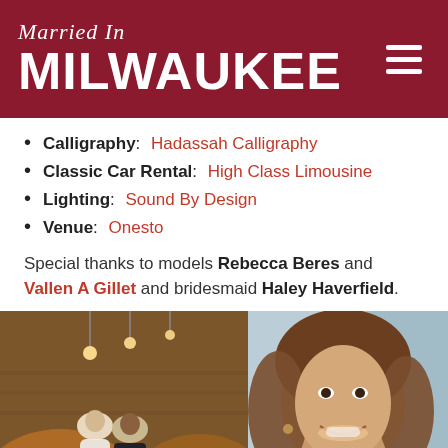Married In MILWAUKEE
Calligraphy: Hadassah Calligraphy
Classic Car Rental: High Class Limousine
Lighting: Sound By Design
Venue: Onesto
Special thanks to models Rebecca Beres and Vallen A Gillet and bridesmaid Haley Haverfield.
[Figure (photo): Two photos side by side: left shows a couple (bride in white dress and groom in suit) seated in a warmly lit brick venue with hanging Edison bulbs; right shows a close-up portrait of a smiling woman with brown wavy hair.]